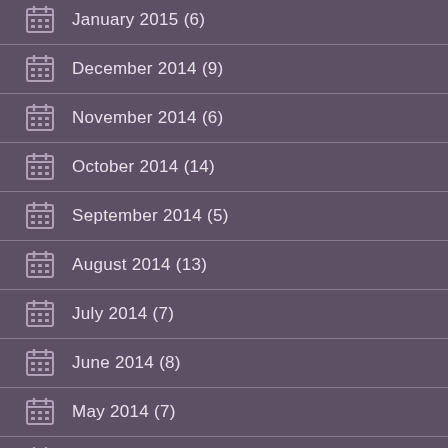January 2015 (6)
December 2014 (9)
November 2014 (6)
October 2014 (14)
September 2014 (5)
August 2014 (13)
July 2014 (7)
June 2014 (8)
May 2014 (7)
April 2014 (12)